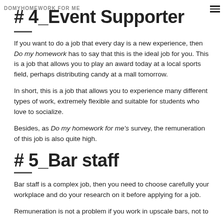DOMYHOMEWORK FOR ME
# 4_Event Supporter
If you want to do a job that every day is a new experience, then Do my homework has to say that this is the ideal job for you. This is a job that allows you to play an award today at a local sports field, perhaps distributing candy at a mall tomorrow.
In short, this is a job that allows you to experience many different types of work, extremely flexible and suitable for students who love to socialize.
Besides, as Do my homework for me's survey, the remuneration of this job is also quite high.
# 5_Bar staff
Bar staff is a complex job, then you need to choose carefully your workplace and do your research on it before applying for a job.
Remuneration is not a problem if you work in upscale bars, not to